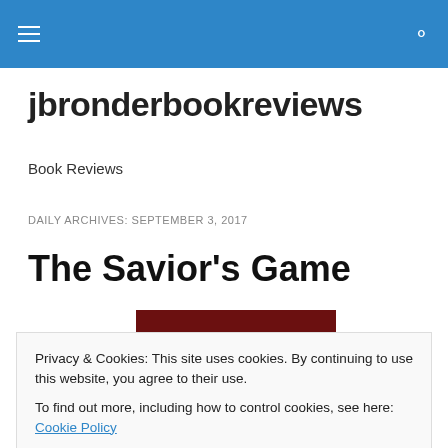jbronderbookreviews — site header navigation bar
jbronderbookreviews
Book Reviews
DAILY ARCHIVES: SEPTEMBER 3, 2017
The Savior's Game
Privacy & Cookies: This site uses cookies. By continuing to use this website, you agree to their use.
To find out more, including how to control cookies, see here: Cookie Policy
Close and accept